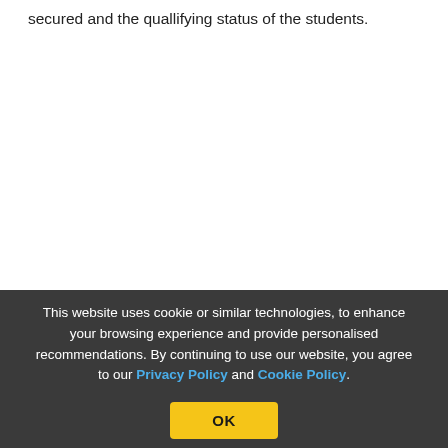secured and the quallifying status of the students.
This website uses cookie or similar technologies, to enhance your browsing experience and provide personalised recommendations. By continuing to use our website, you agree to our Privacy Policy and Cookie Policy.
OK